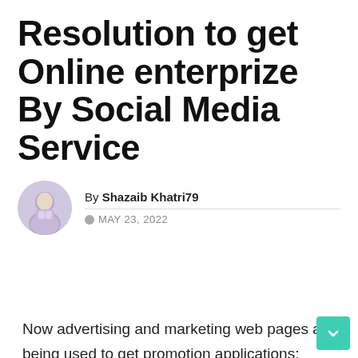Resolution to get Online enterprize By Social Media Service
By Shazaib Khatri79
MAY 23, 2022
Now advertising and marketing web pages are being used to get promotion applications; industry experts apply really customized company to attain scores of its purchasers.